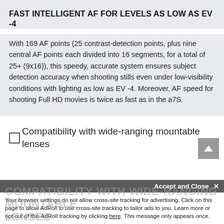FAST INTELLIGENT AF FOR LEVELS AS LOW AS EV -4
With 169 AF points (25 contrast-detection points, plus nine central AF points each divided into 16 segments, for a total of 25+ (9x16)), this speedy, accurate system ensures subject detection accuracy when shooting stills even under low-visibility conditions with lighting as low as EV -4. Moreover, AF speed for shooting Full HD movies is twice as fast as in the a7S.
Compatibility with wide-ranging mountable lenses
Accept and Close ×
Your browser settings do not allow cross-site tracking for advertising. Click on this page to allow AdRoll to use cross-site tracking to tailor ads to you. Learn more or opt out of this AdRoll tracking by clicking here. This message only appears once.